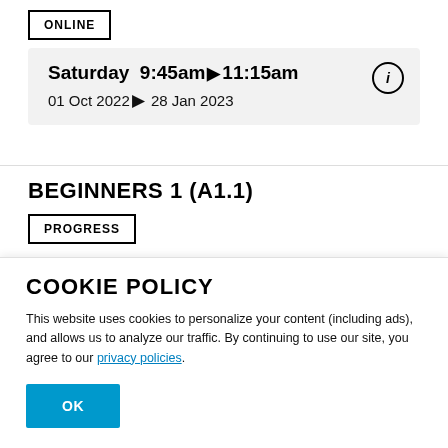ONLINE
Saturday  9:45am▶11:15am
01 Oct 2022▶28 Jan 2023
BEGINNERS 1 (A1.1)
PROGRESS
In this course, you will learn to introduce yourself and how to ask basic questions to get to know someone.
COOKIE POLICY
This website uses cookies to personalize your content (including ads), and allows us to analyze our traffic. By continuing to use our site, you agree to our privacy policies.
OK